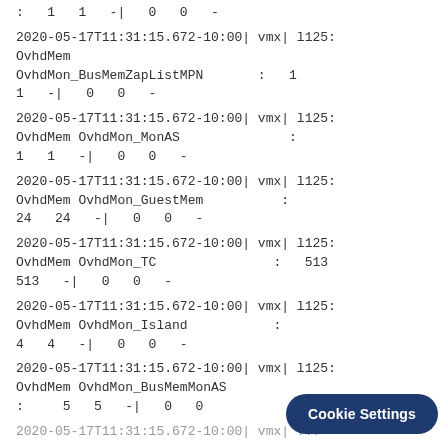:  1  1  -|  0  0  -
2020-05-17T11:31:15.672-10:00| vmx| l125: OvhdMem OvhdMon_BusMemZapListMPN  :  1
1  -|  0  0  -
2020-05-17T11:31:15.672-10:00| vmx| l125: OvhdMem OvhdMon_MonAS  :
1  1  -|  0  0  -
2020-05-17T11:31:15.672-10:00| vmx| l125: OvhdMem OvhdMon_GuestMem  :
24  24  -|  0  0  -
2020-05-17T11:31:15.672-10:00| vmx| l125: OvhdMem OvhdMon_TC  :  513
513  -|  0  0  -
2020-05-17T11:31:15.672-10:00| vmx| l125: OvhdMem OvhdMon_Island  :
4  4  -|  0  0  -
2020-05-17T11:31:15.672-10:00| vmx| l125: OvhdMem OvhdMon_BusMemMonAS
:  5  5  -|  0  0
2020-05-17T11:31:15.672-10:00| vmx| ...